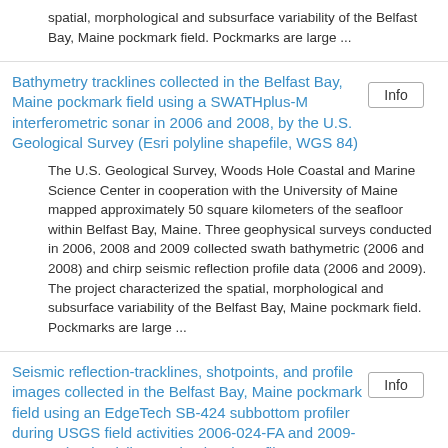spatial, morphological and subsurface variability of the Belfast Bay, Maine pockmark field. Pockmarks are large ...
Bathymetry tracklines collected in the Belfast Bay, Maine pockmark field using a SWATHplus-M interferometric sonar in 2006 and 2008, by the U.S. Geological Survey (Esri polyline shapefile, WGS 84)
The U.S. Geological Survey, Woods Hole Coastal and Marine Science Center in cooperation with the University of Maine mapped approximately 50 square kilometers of the seafloor within Belfast Bay, Maine. Three geophysical surveys conducted in 2006, 2008 and 2009 collected swath bathymetric (2006 and 2008) and chirp seismic reflection profile data (2006 and 2009). The project characterized the spatial, morphological and subsurface variability of the Belfast Bay, Maine pockmark field. Pockmarks are large ...
Seismic reflection-tracklines, shotpoints, and profile images collected in the Belfast Bay, Maine pockmark field using an EdgeTech SB-424 subbottom profiler during USGS field activities 2006-024-FA and 2009-037-FA (Esri polyline, and point shapefiles, WGS 84, and JPEG images)
The U.S. Geological Survey, Woods Hole Coastal and Marine